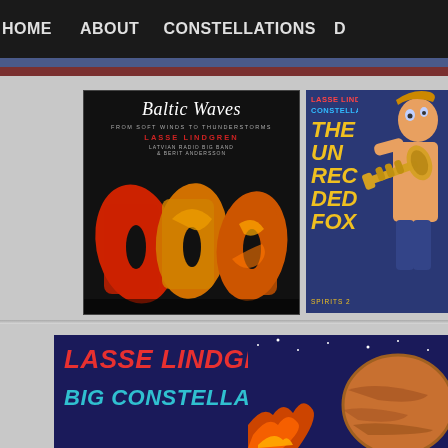HOME   ABOUT   CONSTELLATIONS   D
[Figure (photo): Baltic Waves album cover by Lasse Lindgren - Latvian Radio Big Band & Berit Andersson, featuring abstract colorful shapes on black background]
[Figure (photo): Lasse Lindgren Big Constellation - The Unrecorded Fox, Spirits 2, showing a trumpet player illustration on blue background]
[Figure (photo): Lasse Lindgren Big Constellation banner with red and cyan text on dark blue background with space/planet imagery]